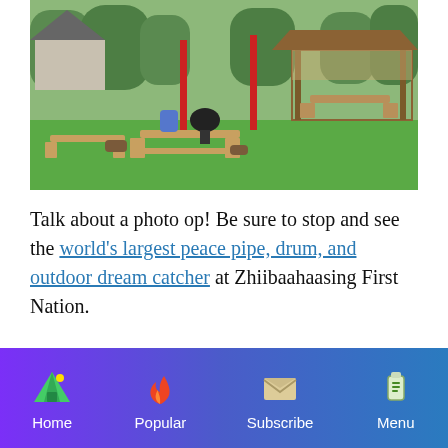[Figure (photo): Outdoor area with picnic tables, wooden gazebo/pavilion, red poles, and green lawn with trees in background]
Talk about a photo op! Be sure to stop and see the world's largest peace pipe, drum, and outdoor dream catcher at Zhiibaahaasing First Nation.
2. SHESHEGWANING FIRST NATION
Home  Popular  Subscribe  Menu